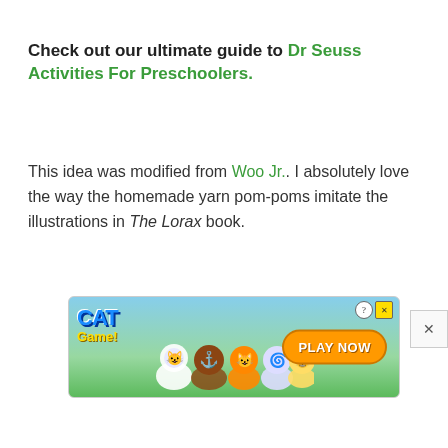Check out our ultimate guide to Dr Seuss Activities For Preschoolers.
This idea was modified from Woo Jr.. I absolutely love the way the homemade yarn pom-poms imitate the illustrations in The Lorax book.
[Figure (other): Advertisement banner for 'Cat Game' mobile game showing cartoon cat characters on a green/blue background with 'PLAY NOW' button and close/help icons.]